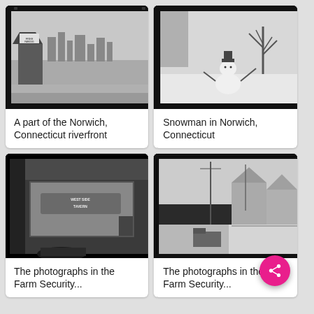[Figure (photo): Black and white photo of Norwich, Connecticut riverfront with a small building with 'Free Parking' sign in foreground and city buildings behind water]
A part of the Norwich, Connecticut riverfront
[Figure (photo): Black and white photo of a snowman in a snowy winter scene with bare trees in Norwich, Connecticut]
Snowman in Norwich, Connecticut
[Figure (photo): Black and white photo of West Side Tavern storefront with large window display]
The photographs in the Farm Security...
[Figure (photo): Black and white photo of a snowy residential street with houses and utility poles in Norwich, Connecticut]
The photographs in the Farm Security...